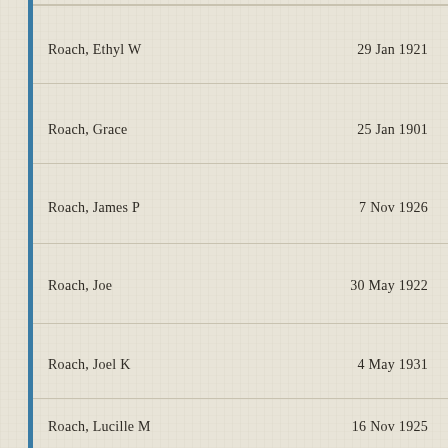Roach, Ethyl W    29 Jan 1921
Roach, Grace    25 Jan 1901
Roach, James P    7 Nov 1926
Roach, Joe    30 May 1922
Roach, Joel K    4 May 1931
Roach, Lucille M    16 Nov 1925